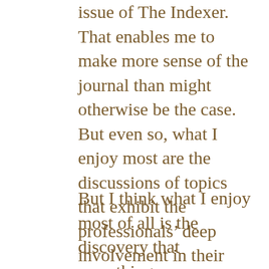issue of The Indexer. That enables me to make more sense of the journal than might otherwise be the case. But even so, what I enjoy most are the discussions of topics that exhibit the professionals' deep involvement in their craft.
But I think what I enjoy most of all is the discovery that something as seemingly simple as generating an index turns out to be indefinitely deep. There are endless technical issues, but also fathomless questions of principle. There's even indexer humor. For example, one of the index reviews notes that Craig